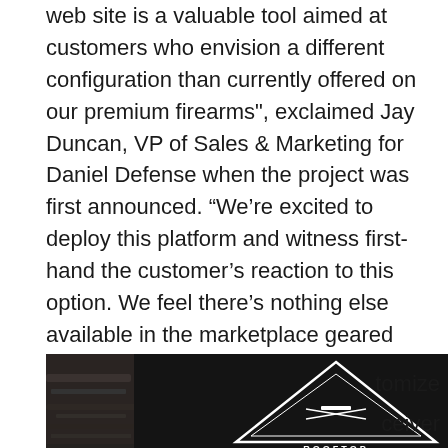web site is a valuable tool aimed at customers who envision a different configuration than currently offered on our premium firearms", exclaimed Jay Duncan, VP of Sales & Marketing for Daniel Defense when the project was first announced. “We’re excited to deploy this platform and witness first-hand the customer’s reaction to this option. We feel there’s nothing else available in the marketplace geared toward giving the gun enthusiast this amount of flexibility as they customize a firearm.”
[Figure (photo): Advertisement banner for Rooftop Arms showing a triangular logo with crossed rifles, text reading ROOFTOP ARMS, tagline Range Ready | Ultra Premium | Custom | Hand Assembled Guns, and a raffle call-to-action, overlaid on a dark background with firearms visible on sides.]